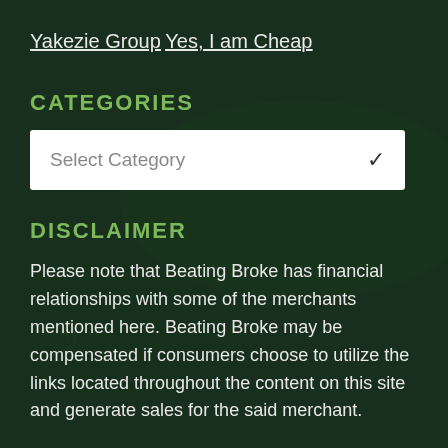Yakezie Group
Yes, I am Cheap
CATEGORIES
[Figure (screenshot): A dropdown select box with placeholder text 'Select Category' and a chevron arrow on the right, white background]
DISCLAIMER
Please note that Beating Broke has financial relationships with some of the merchants mentioned here. Beating Broke may be compensated if consumers choose to utilize the links located throughout the content on this site and generate sales for the said merchant.